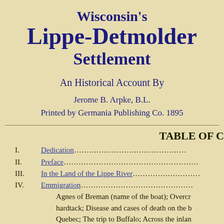Wisconsin's Lippe-Detmolder Settlement
An Historical Account By
Jerome B. Arpke, B.L.
Printed by Germania Publishing Co. 1895
TABLE OF C
I.   Dedication……………………………………
II.  Preface………………………………………
III. In the Land of the Lippe River………………
IV.  Emmigration…………………………………
Agnes of Breman (name of the boat); Overcr hardtack; Disease and cases of death on the b Quebec; The trip to Buffalo; Across the inlan